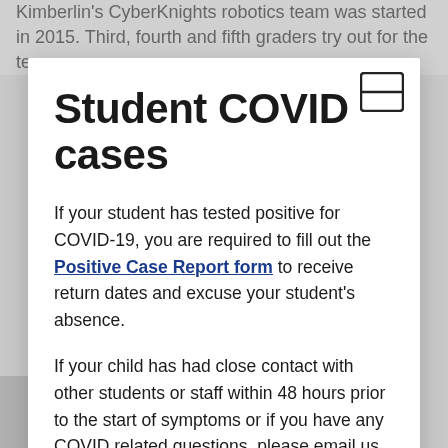Kimberlin's CyberKnights robotics team was started in 2015. Third, fourth and fifth graders try out for the team
Student COVID cases
If your student has tested positive for COVID-19, you are required to fill out the Positive Case Report form to receive return dates and excuse your student's absence.
If your child has had close contact with other students or staff within 48 hours prior to the start of symptoms or if you have any COVID related questions, please email us at
Our first Kimberlin robotics students